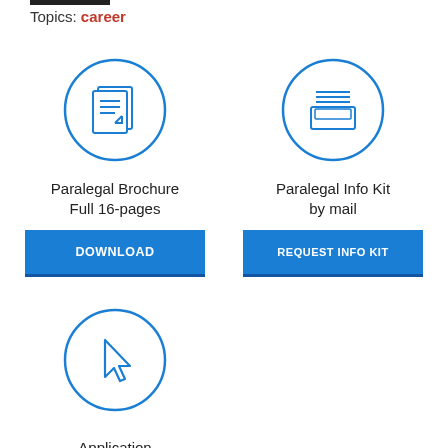Topics: career
[Figure (illustration): Blue circle icon with document/pages symbol representing a brochure]
Paralegal Brochure Full 16-pages
DOWNLOAD
[Figure (illustration): Blue circle icon with inbox/tray symbol representing mail info kit]
Paralegal Info Kit by mail
REQUEST INFO KIT
[Figure (illustration): Blue circle icon with cursor/arrow symbol representing an application]
Application